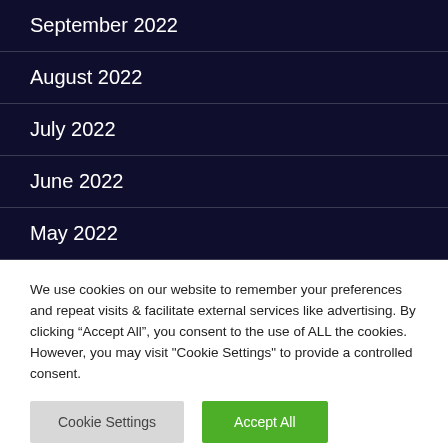September 2022
August 2022
July 2022
June 2022
May 2022
We use cookies on our website to remember your preferences and repeat visits & facilitate external services like advertising. By clicking “Accept All”, you consent to the use of ALL the cookies. However, you may visit "Cookie Settings" to provide a controlled consent.
Cookie Settings | Accept All